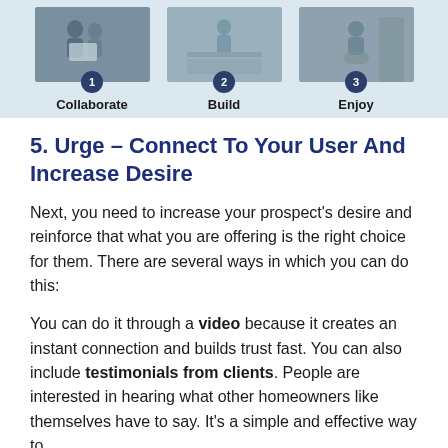[Figure (illustration): Three step process infographic showing photos of people with numbered badges (1, 2, 3) and labels: Collaborate, Build, Enjoy]
5. Urge – Connect To Your User And Increase Desire
Next, you need to increase your prospect's desire and reinforce that what you are offering is the right choice for them. There are several ways in which you can do this:
You can do it through a video because it creates an instant connection and builds trust fast. You can also include testimonials from clients. People are interested in hearing what other homeowners like themselves have to say. It's a simple and effective way to